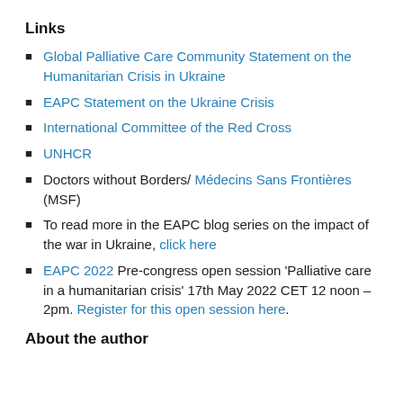Links
Global Palliative Care Community Statement on the Humanitarian Crisis in Ukraine
EAPC Statement on the Ukraine Crisis
International Committee of the Red Cross
UNHCR
Doctors without Borders/ Médecins Sans Frontières (MSF)
To read more in the EAPC blog series on the impact of the war in Ukraine, click here
EAPC 2022 Pre-congress open session 'Palliative care in a humanitarian crisis' 17th May 2022 CET 12 noon – 2pm. Register for this open session here.
About the author